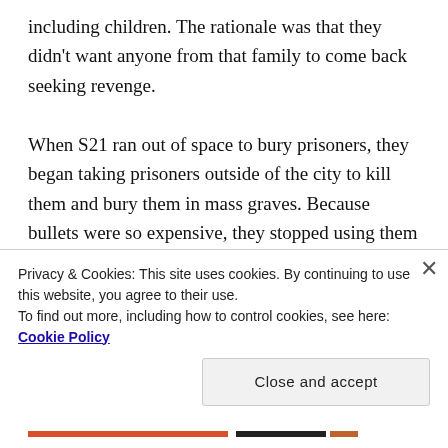including children. The rationale was that they didn't want anyone from that family to come back seeking revenge.

When S21 ran out of space to bury prisoners, they began taking prisoners outside of the city to kill them and bury them in mass graves. Because bullets were so expensive, they stopped using them and killed with whatever tools they had. Executions were conducted on the edge of the mass grave so that the prisoner could fall in. The regime sprayed toxic chemicals on the recently deceased to mask the smell and to kill anyone
Privacy & Cookies: This site uses cookies. By continuing to use this website, you agree to their use.
To find out more, including how to control cookies, see here: Cookie Policy
Close and accept